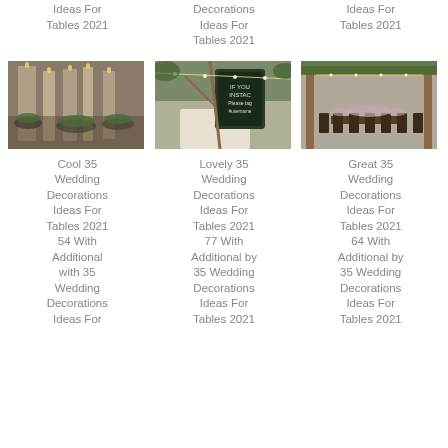Ideas For Tables 2021
Decorations Ideas For Tables 2021
Ideas For Tables 2021
[Figure (photo): Wedding table with tall candles and greenery decorations]
[Figure (photo): Outdoor wedding setup with chalkboard sign saying If You Like Instagram]
[Figure (photo): Wedding reception outdoor venue with long table and floral arch]
Cool 35 Wedding Decorations Ideas For Tables 2021 54 With Additional with 35 Wedding Decorations Ideas For
Lovely 35 Wedding Decorations Ideas For Tables 2021 77 With Additional by 35 Wedding Decorations Ideas For Tables 2021
Great 35 Wedding Decorations Ideas For Tables 2021 64 With Additional by 35 Wedding Decorations Ideas For Tables 2021